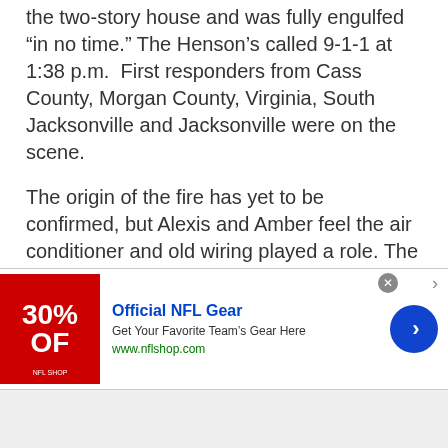the two-story house and was fully engulfed "in no time." The Henson's called 9-1-1 at 1:38 p.m. First responders from Cass County, Morgan County, Virginia, South Jacksonville and Jacksonville were on the scene.
The origin of the fire has yet to be confirmed, but Alexis and Amber feel the air conditioner and old wiring played a role. The house is estimated to be at least 80 years old.
Correction and update: Arenzville's fire department did not respond. Newspaper reports
[Figure (other): Advertisement banner for Official NFL Gear showing 30% OFF discount, with red image box on left, ad text in middle, and blue arrow button on right. Close button and external link icon in top right corner.]